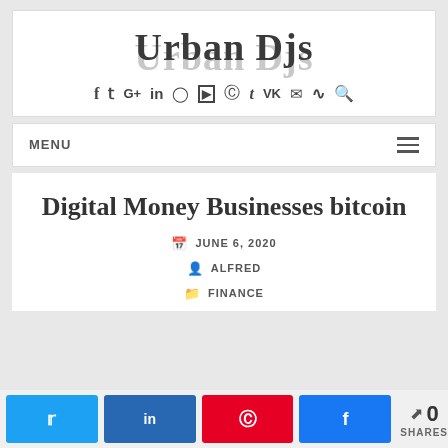Urban Djs
[Figure (infographic): Social media icons row: Facebook, Twitter, Google+, LinkedIn, Instagram, YouTube, Pinterest, Tumblr, VK, Email, RSS, Search]
MENU
Digital Money Businesses bitcoin
JUNE 6, 2020
ALFRED
FINANCE
[Figure (infographic): Share bar with Twitter, LinkedIn, Pinterest, Facebook buttons and 0 SHARES count]